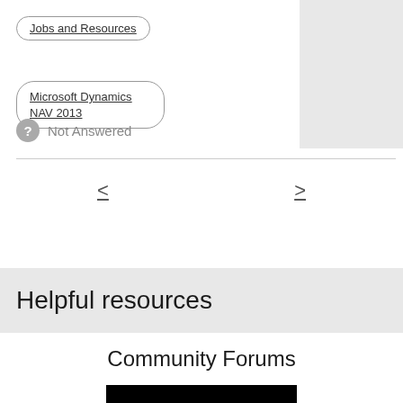Jobs and Resources
Microsoft Dynamics NAV 2013
Not Answered
<
>
Helpful resources
Community Forums